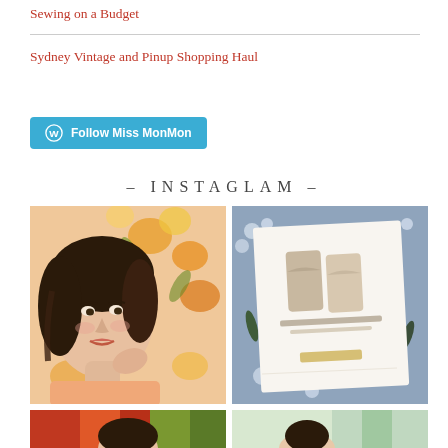Sewing on a Budget
Sydney Vintage and Pinup Shopping Haul
Follow Miss MonMon
- INSTAGLAM -
[Figure (photo): Portrait of a young woman with dark curly hair lying among floral fabric with orange, pink and yellow flowers]
[Figure (photo): A white sewing pattern card/booklet on blue floral fabric with green leaf pattern, featuring dress illustrations]
[Figure (photo): Young woman with dark hair surrounded by colorful autumn foliage in shades of red, orange and green]
[Figure (photo): Person with dark hair in a light colored setting with green trees visible in background]